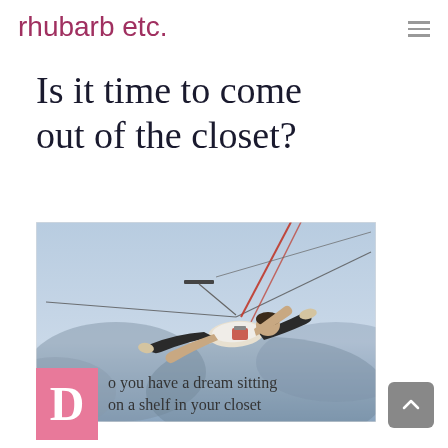rhubarb etc.
Is it time to come out of the closet?
[Figure (photo): Person suspended in the air by cables/wires against a cloudy sky, body outstretched horizontally, wearing black pants and white top, performing an aerial stunt or trapeze act.]
o you have a dream sitting on a shelf in your closet